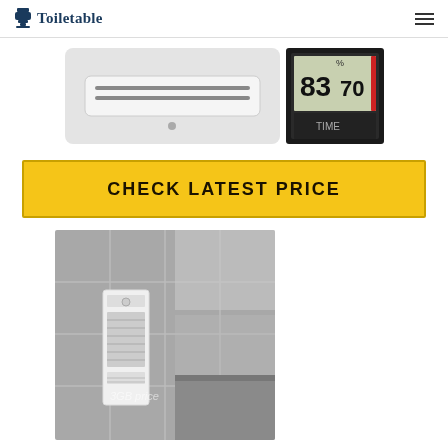Toiletable
[Figure (photo): Two product images side by side: a white wall heater unit on the left and a digital thermometer/hygrometer display showing 83 and 70 on the right]
CHECK LATEST PRICE
[Figure (photo): Bathroom scene showing a white wall-mounted heater/fan unit installed on gray tiled wall, with watermark text '3GB price']